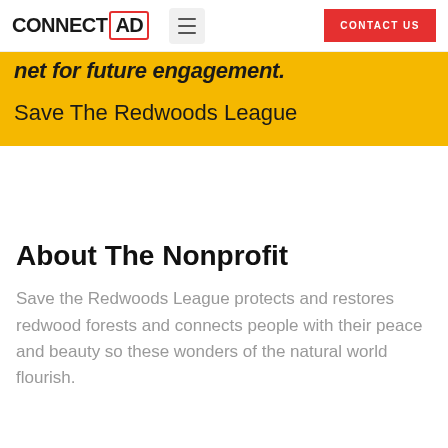CONNECT AD  ≡  CONTACT US
…net for future engagement.
Save The Redwoods League
About The Nonprofit
Save the Redwoods League protects and restores redwood forests and connects people with their peace and beauty so these wonders of the natural world flourish.